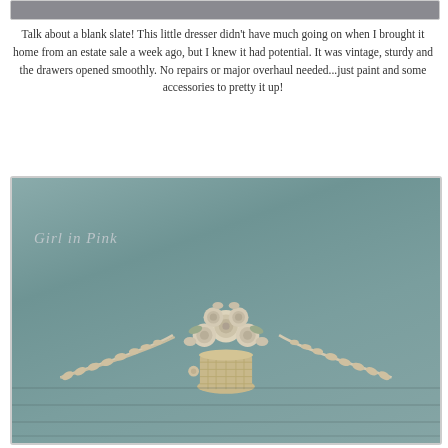[Figure (photo): Cropped top portion of a gray dresser shown in a rectangular frame]
Talk about a blank slate!  This little dresser didn't have much going on when I brought it home from an estate sale a week ago, but I knew it had potential.  It was vintage, sturdy and the drawers opened smoothly.  No repairs or major overhaul needed...just paint and some accessories to pretty it up!
[Figure (photo): Close-up photo of a vintage dresser painted in a blue-gray chalk paint color, featuring a decorative white floral basket applique with roses and wheat sprays in the center, with the watermark 'Girl in Pink' in the upper left corner. The dresser has a distressed, shabby chic appearance with horizontal wood plank texture visible.]